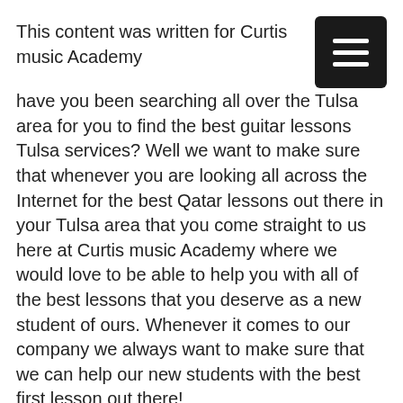This content was written for Curtis music Academy
have you been searching all over the Tulsa area for you to find the best guitar lessons Tulsa services? Well we want to make sure that whenever you are looking all across the Internet for the best Qatar lessons out there in your Tulsa area that you come straight to us here at Curtis music Academy where we would love to be able to help you with all of the best lessons that you deserve as a new student of ours. Whenever it comes to our company we always want to make sure that we can help our new students with the best first lesson out there!
So if you want to be able to have the best first lesson from a company that has well over 100 different five-star reviews from customers who are super happy about our services and we can do for you then you definitely need to contact us as soon as you can to